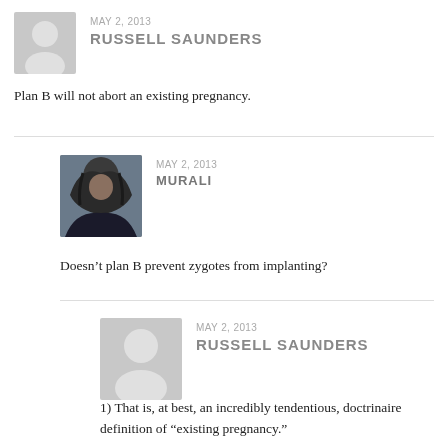[Figure (illustration): Gray silhouette avatar placeholder icon for user Russell Saunders]
MAY 2, 2013
RUSSELL SAUNDERS
Plan B will not abort an existing pregnancy.
[Figure (photo): Profile photo of user Murali showing a person in dark clothing with dark hair]
MAY 2, 2013
MURALI
Doesn't plan B prevent zygotes from implanting?
[Figure (illustration): Gray silhouette avatar placeholder icon for user Russell Saunders]
MAY 2, 2013
RUSSELL SAUNDERS
1) That is, at best, an incredibly tendentious, doctrinaire definition of “existing pregnancy.”